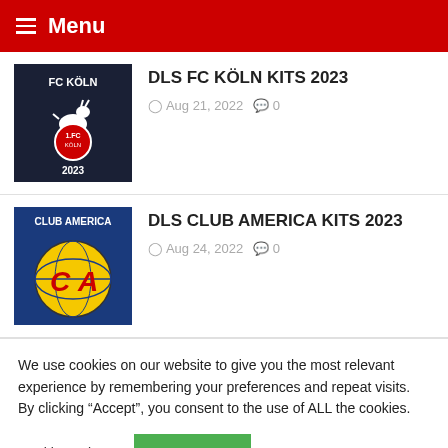≡ Menu
DLS FC KÖLN KITS 2023 | Aug 21, 2022 | 0 comments
DLS CLUB AMERICA KITS 2023 | Aug 24, 2022 | 0 comments
We use cookies on our website to give you the most relevant experience by remembering your preferences and repeat visits. By clicking "Accept", you consent to the use of ALL the cookies.
Cookie settings | ACCEPT